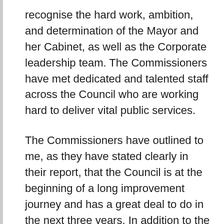recognise the hard work, ambition, and determination of the Mayor and her Cabinet, as well as the Corporate leadership team. The Commissioners have met dedicated and talented staff across the Council who are working hard to deliver vital public services.
The Commissioners have outlined to me, as they have stated clearly in their report, that the Council is at the beginning of a long improvement journey and has a great deal to do in the next three years. In addition to the precise functions listed in the Directions, the Commissioners have encouraged the Council to take a whole-council approach to improvement, with an expectation that the plans being developed will reflect this position. The Commissioners are working with the Council to